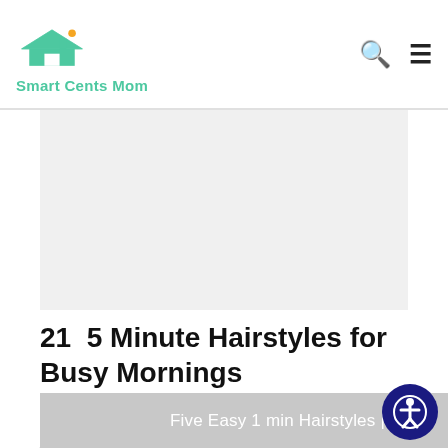Smart Cents Mom
[Figure (other): Advertisement placeholder gray area]
21  5 Minute Hairstyles for Busy Mornings
~ This article may contain affiliate links. I only suggest product or services I believe will benefit my readers. All opinions are 100% mine! ~
[Figure (photo): Partial photo strip at bottom showing hairstyles video thumbnail with text 'Five Easy 1 min Hairstyles | C...']